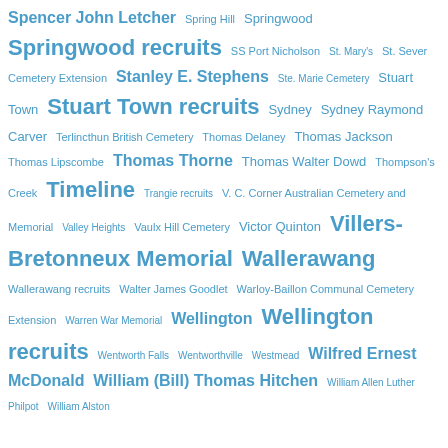Spencer John Letcher Spring Hill Springwood Springwood recruits SS Port Nicholson St. Mary's St. Sever Cemetery Extension Stanley E. Stephens Ste. Marie Cemetery Stuart Town Stuart Town recruits Sydney Sydney Raymond Carver Terlincthun British Cemetery Thomas Delaney Thomas Jackson Thomas Lipscombe Thomas Thorne Thomas Walter Dowd Thompson's Creek Timeline Trangie recruits V. C. Corner Australian Cemetery and Memorial Valley Heights Vaulx Hill Cemetery Victor Quinton Villers-Bretonneux Memorial Wallerawang Wallerawang recruits Walter James Goodlet Warloy-Baillon Communal Cemetery Extension Warren War Memorial Wellington Wellington recruits Wentworth Falls Wentworthville Westmead Wilfred Ernest McDonald William (Bill) Thomas Hitchen William Allen Luther Philpot William Alston